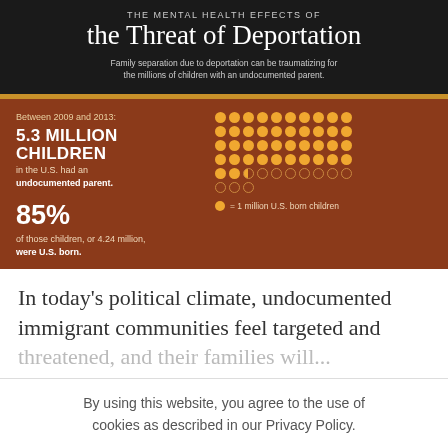THE MENTAL HEALTH EFFECTS OF the Threat of Deportation
Family separation due to deportation can be traumatizing for the millions of children with an undocumented parent.
[Figure (infographic): Infographic showing dot grid representing 5.3 million children with undocumented parents. Left side shows statistics: Between 2009 and 2013: 5.3 MILLION CHILDREN in the U.S. had an undocumented parent. 85% of those children, or 4.24 million, were U.S. born. Right side shows dot matrix where filled orange dots represent 1 million U.S. born children and empty circles represent non-U.S. born children.]
In today's political climate, undocumented immigrant communities feel targeted and threatened, and their families will...
By using this website, you agree to the use of cookies as described in our Privacy Policy.